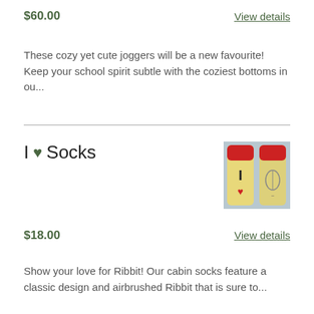$60.00
View details
These cozy yet cute joggers will be a new favourite! Keep your school spirit subtle with the coziest bottoms in ou...
I ♥ Socks
[Figure (photo): Photo of two socks with red toes showing the sole/bottom side, one with letter I and red heart, the other with an illustration]
$18.00
View details
Show your love for Ribbit! Our cabin socks feature a classic design and airbrushed Ribbit that is sure to...